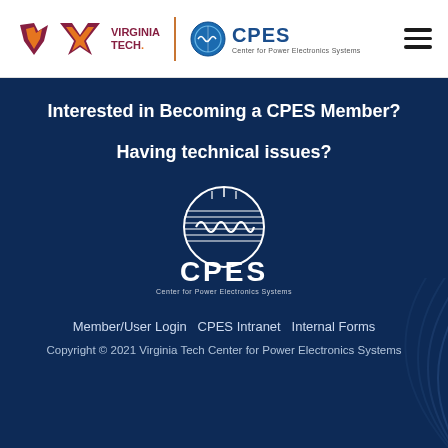[Figure (logo): Virginia Tech and CPES (Center for Power Electronics Systems) header logos with hamburger menu icon]
Interested in Becoming a CPES Member?
Having technical issues?
[Figure (logo): CPES (Center for Power Electronics Systems) large white logo on dark blue background]
Member/User Login  CPES Intranet  Internal Forms
Copyright © 2021 Virginia Tech Center for Power Electronics Systems